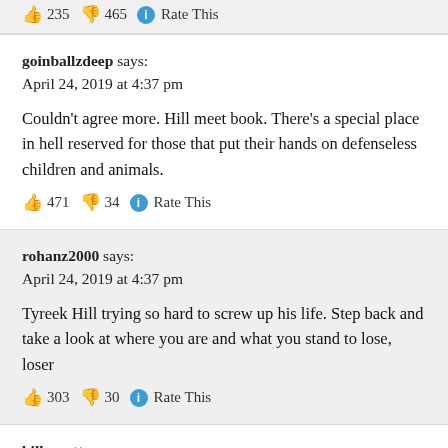235  465  Rate This
goinballzdeep says:
April 24, 2019 at 4:37 pm
Couldn’t agree more. Hill meet book. There’s a special place in hell reserved for those that put their hands on defenseless children and animals.
471  34  Rate This
rohanz2000 says:
April 24, 2019 at 4:37 pm
Tyreek Hill trying so hard to screw up his life. Step back and take a look at where you are and what you stand to lose, loser
303  30  Rate This
billymutt says:
April 24, 2019 at 4:38 pm